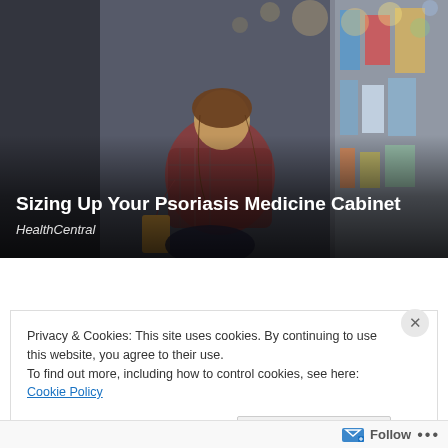[Figure (photo): Woman crouching in a pharmacy/drugstore aisle, examining a product label on a shelf. Aisle shelves with various products visible on both sides. Bokeh lighting in background.]
Sizing Up Your Psoriasis Medicine Cabinet
HealthCentral
Privacy & Cookies: This site uses cookies. By continuing to use this website, you agree to their use.
To find out more, including how to control cookies, see here: Cookie Policy
Close and accept
Follow ...